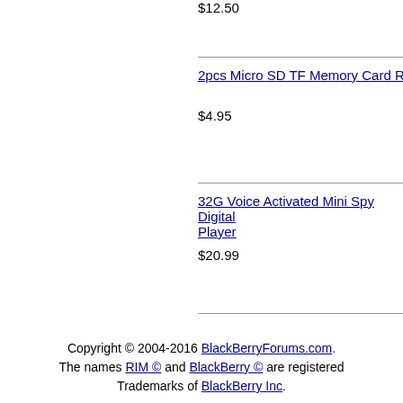$12.50
2pcs Micro SD TF Memory Card Read
$4.95
32G Voice Activated Mini Spy Digital Player
$20.99
Copyright © 2004-2016 BlackBerryForums.com. The names RIM © and BlackBerry © are registered Trademarks of BlackBerry Inc.